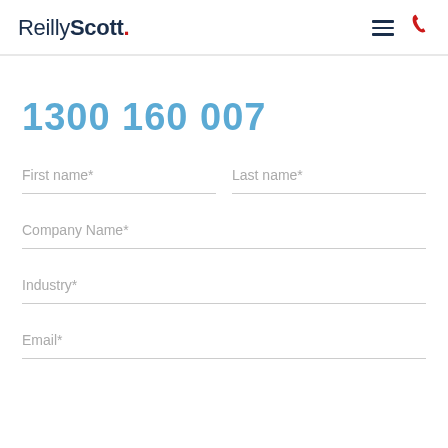ReillyScott.
1300 160 007
First name*
Last name*
Company Name*
Industry*
Email*